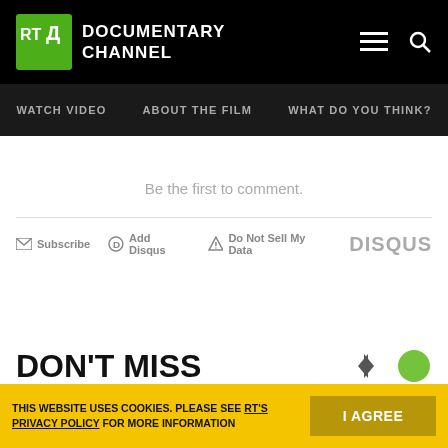[Figure (logo): RT Documentary Channel logo: green cube with RT and Д letters, white text DOCUMENTARY CHANNEL]
WATCH VIDEO  ABOUT THE FILM  WHAT DO YOU THINK?
Be the first to comment.
Subscribe  Add Disqus  Do Not Sell My Data  DISQUS
DON'T MISS
THIS WEBSITE USES COOKIES. PLEASE SEE RT'S PRIVACY POLICY FOR MORE INFORMATION   I AGREE